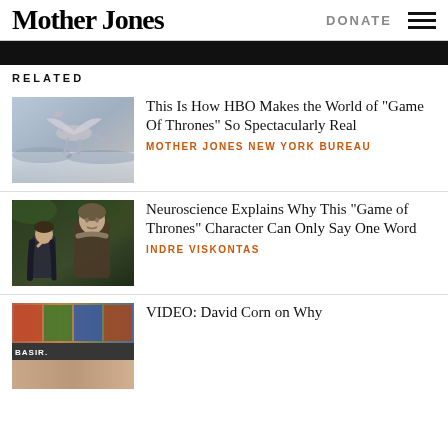Mother Jones | DONATE
RELATED
[Figure (photo): Dragon flying over snowy landscape, Game of Thrones scene]
This Is How HBO Makes the World of “Game Of Thrones” So Spectacularly Real
MOTHER JONES NEW YORK BUREAU
[Figure (photo): Two Game of Thrones characters, Bran and Hodor, in dark forest setting]
Neuroscience Explains Why This “Game of Thrones” Character Can Only Say One Word
INDRE VISKONTAS
[Figure (screenshot): Video thumbnail with BASIR label and colorful imagery]
VIDEO: David Corn on Why